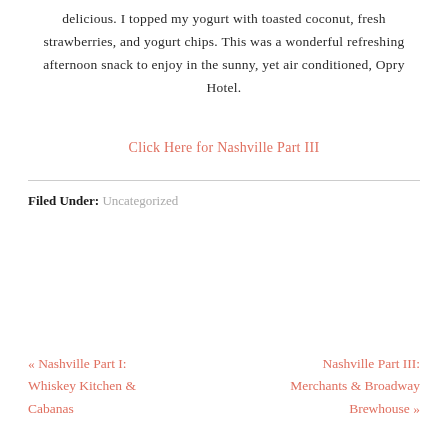delicious.  I topped my yogurt with toasted coconut, fresh strawberries, and yogurt chips.  This was a wonderful refreshing afternoon snack to enjoy in the sunny, yet air conditioned, Opry Hotel.
Click Here for Nashville Part III
Filed Under: Uncategorized
« Nashville Part I: Whiskey Kitchen & Cabanas
Nashville Part III: Merchants & Broadway Brewhouse »